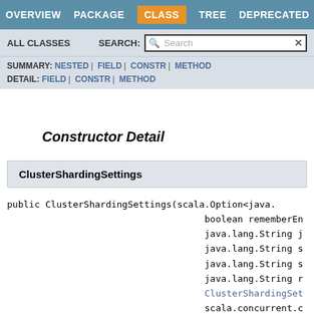OVERVIEW  PACKAGE  CLASS  TREE  DEPRECATED  INDEX
ALL CLASSES  SEARCH:
SUMMARY: NESTED | FIELD | CONSTR | METHOD  DETAIL: FIELD | CONSTR | METHOD
Constructor Detail
ClusterShardingSettings
public ClusterShardingSettings(scala.Option<java. boolean rememberEn java.lang.String j java.lang.String s java.lang.String s java.lang.String r ClusterShardingSet scala.concurrent.c ClusterShardingSet ClusterSingletonMa